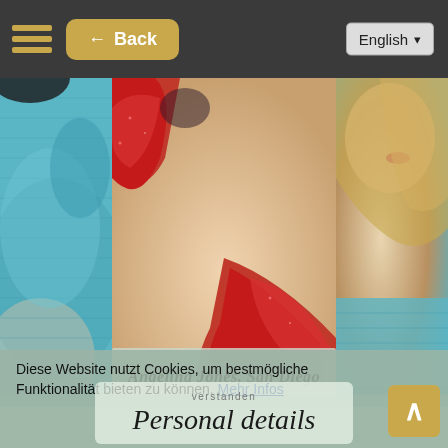← Back | English
[Figure (photo): Three-panel photo strip: left panel shows person in teal sweater, center panel shows close-up of red swimwear/lingerie on skin, right panel shows person with blonde hair and teal top. Name overlay reads: Angelina Jones, San Diego]
Diese Website nutzt Cookies, um bestmögliche Funktionalität bieten zu können. Mehr Infos
verstanden
Personal details